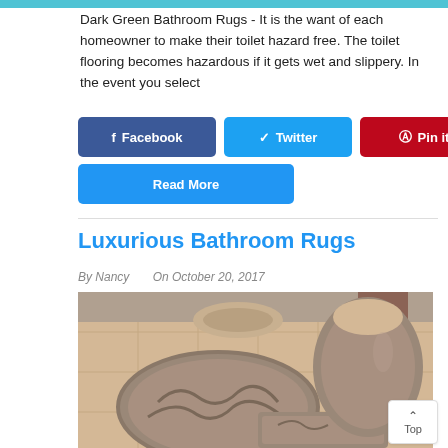[Figure (screenshot): Teal/cyan colored top navigation bar strip]
Dark Green Bathroom Rugs - It is the want of each homeowner to make their toilet hazard free. The toilet flooring becomes hazardous if it gets wet and slippery. In the event you select
Facebook button
Twitter button
Pin it button
... button
Read More button
Luxurious Bathroom Rugs
By Nancy    On October 20, 2017
[Figure (photo): Photo of luxurious brown bathroom rugs set on tiled bathroom floor, including a semi-circular mat, rectangular mat, and toilet seat cover in brown/taupe tones]